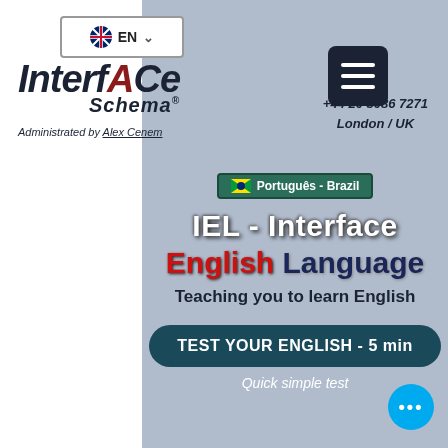[Figure (screenshot): InterfACe Schema language school website screenshot showing logo, navigation, and IEL course landing page in Portuguese-Brazil]
InterfACe Schema®
Administrated by Alex Cenem
+44 20 3086 7271
London / UK
Português - Brazil
IEL - Interface English Language
Teaching you to learn English
TEST YOUR ENGLISH - 5 min
Quick simple test